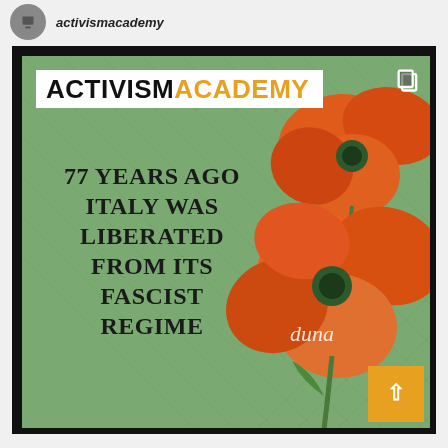activismacademy
[Figure (illustration): Social media post graphic for Activism Academy showing green quilted background with red poppy flowers and bold text reading '77 YEARS AGO ITALY WAS LIBERATED FROM ITS FASCIST REGIME'. Features the ACTIVISM ACADEMY logo in top left with 'ACADEMY' in orange. A cursive watermark reads 'duna' and there is an orange scroll-up button at bottom right.]